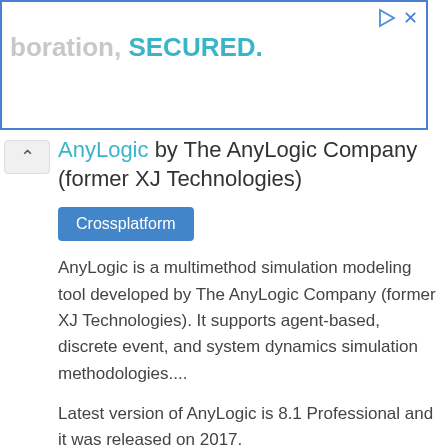[Figure (screenshot): Advertisement banner with blue border, partial text 'boration, SECURED.' visible, with play and close icons in top right]
AnyLogic by The AnyLogic Company (former XJ Technologies)
Crossplatform
AnyLogic is a multimethod simulation modeling tool developed by The AnyLogic Company (former XJ Technologies). It supports agent-based, discrete event, and system dynamics simulation methodologies....
Latest version of AnyLogic is 8.1 Professional and it was released on 2017.
Tags: Simulation Software, Free Simulation Software, Traffic Simulation, Java Development Tools, Science Software For Macos, Science Software For Windows, Science Software For